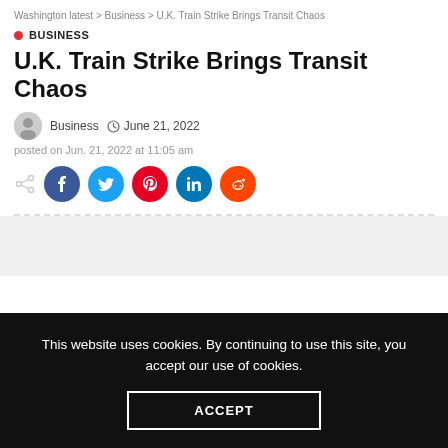Washington latest > Business > U.K. Train Strike Brings Transit Chaos
BUSINESS
U.K. Train Strike Brings Transit Chaos
Business  June 21, 2022
posted on Jun. 21, 2022 at 11:05 am
This website uses cookies. By continuing to use this site, you accept our use of cookies.